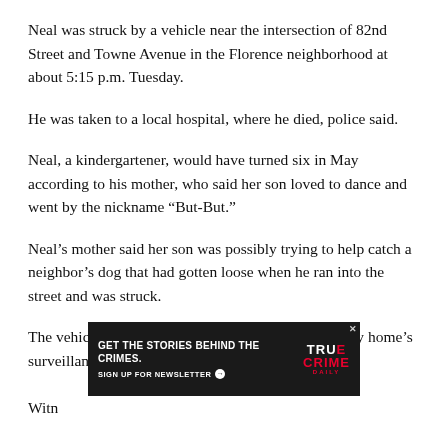Neal was struck by a vehicle near the intersection of 82nd Street and Towne Avenue in the Florence neighborhood at about 5:15 p.m. Tuesday.
He was taken to a local hospital, where he died, police said.
Neal, a kindergartener, would have turned six in May according to his mother, who said her son loved to dance and went by the nickname “But-But.”
Neal’s mother said her son was possibly trying to help catch a neighbor’s dog that had gotten loose when he ran into the street and was struck.
The vehicle that struck Neal was captured on a nearby home’s surveillance video.
[Figure (other): Advertisement banner for True Crime Daily newsletter: 'GET THE STORIES BEHIND THE CRIMES. SIGN UP FOR NEWSLETTER' with True Crime Daily logo on the right.]
Witn